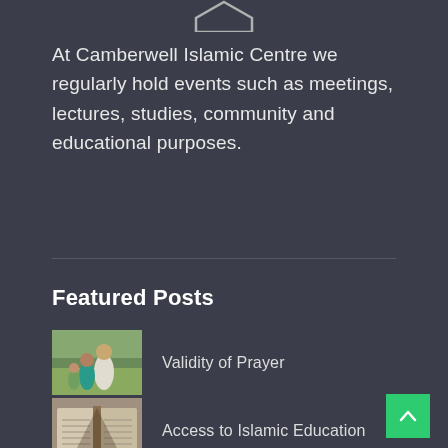[Figure (logo): Partial hexagon/shield logo at top center, white outline on dark background]
At Camberwell Islamic Centre we regularly hold events such as meetings, lectures, studies, community and educational purposes.
Featured Posts
[Figure (photo): Thumbnail photo of a family or group sitting outdoors, Islamic context]
Validity of Prayer
[Figure (photo): Thumbnail photo of an open Quran book]
Access to Islamic Education